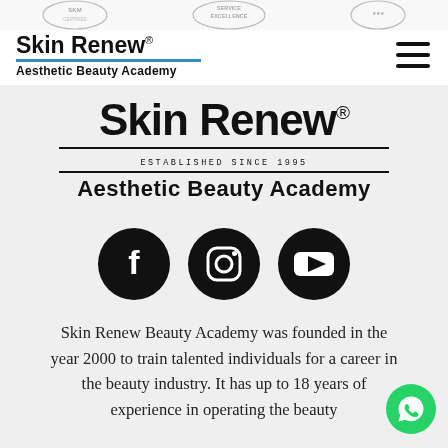[Figure (logo): Skin Renew Aesthetic Beauty Academy logo in header — bold brand name with registered mark, blue horizontal line, and subtitle]
[Figure (logo): Large centered Skin Renew Aesthetic Beauty Academy logo — bold brand name, established since 1995 line, and subtitle]
[Figure (illustration): Three black circular social media icons: Facebook, Instagram, YouTube]
Skin Renew Beauty Academy was founded in the year 2000 to train talented individuals for a career in the beauty industry. It has up to 18 years of experience in operating the beauty